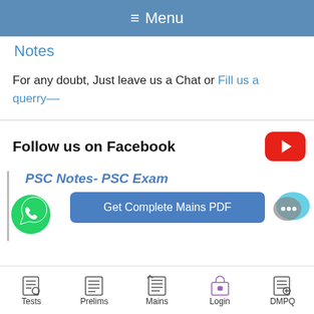≡ Menu
Notes
For any doubt, Just leave us a Chat or Fill us a querry––
Follow us on Facebook
[Figure (logo): YouTube play button red icon]
PSC Notes- PSC Exam
[Figure (illustration): WhatsApp green phone icon]
Get Complete Mains PDF
[Figure (illustration): Chat bubble icon with dots]
Tests  Prelims  Mains  Login  DMPQ